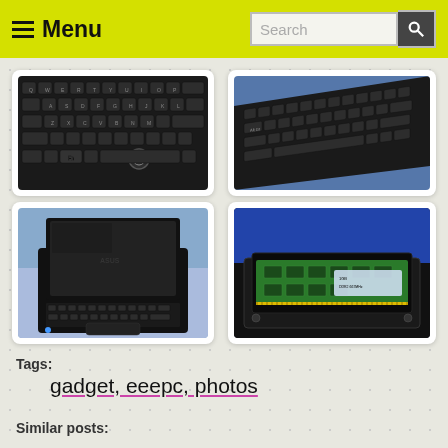Menu | Search
[Figure (photo): Close-up photo of a black laptop keyboard (QWERTY layout, keys visible including Fn key)]
[Figure (photo): Angled photo of a black laptop keyboard with blue background visible]
[Figure (photo): Photo of a small black ASUS Eee PC netbook with keyboard and touchpad, blue background]
[Figure (photo): Photo of a green RAM memory module inserted into a black laptop slot]
Tags:
gadget, eeepc, photos
Similar posts: